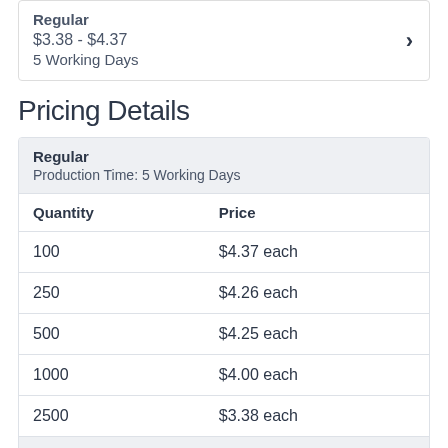Regular
$3.38 - $4.37
5 Working Days
Pricing Details
| Quantity | Price |
| --- | --- |
| 100 | $4.37 each |
| 250 | $4.26 each |
| 500 | $4.25 each |
| 1000 | $4.00 each |
| 2500 | $3.38 each |
| Setup Charge |  |
| $37.50 each |  |